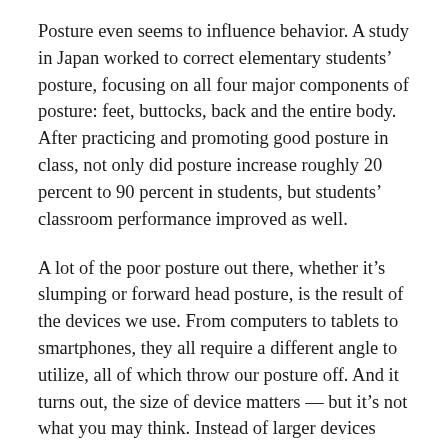Posture even seems to influence behavior. A study in Japan worked to correct elementary students' posture, focusing on all four major components of posture: feet, buttocks, back and the entire body. After practicing and promoting good posture in class, not only did posture increase roughly 20 percent to 90 percent in students, but students' classroom performance improved as well.
A lot of the poor posture out there, whether it's slumping or forward head posture, is the result of the devices we use. From computers to tablets to smartphones, they all require a different angle to utilize, all of which throw our posture off. And it turns out, the size of device matters — but it's not what you may think. Instead of larger devices causing more problems, the opposite seems to be true. That's because the smaller the device, the more we must move our heads or necks forward.
Cuddy and Bos also conducted their own preliminary